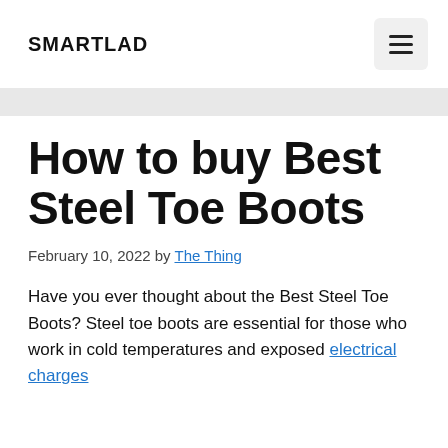SMARTLAD
How to buy Best Steel Toe Boots
February 10, 2022 by The Thing
Have you ever thought about the Best Steel Toe Boots? Steel toe boots are essential for those who work in cold temperatures and exposed electrical charges